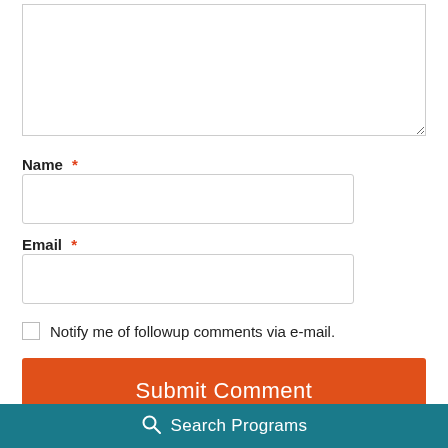[textarea - comment input box]
Name *
[Name text input field]
Email *
[Email text input field]
Notify me of followup comments via e-mail.
Submit Comment
Search Programs